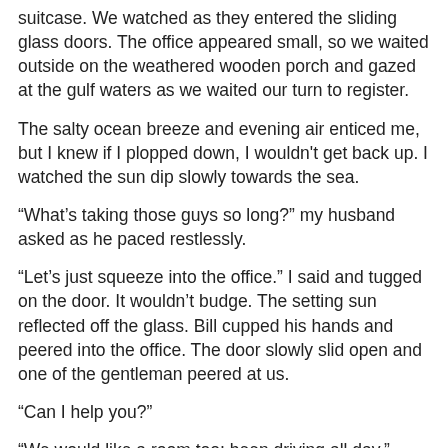suitcase. We watched as they entered the sliding glass doors. The office appeared small, so we waited outside on the weathered wooden porch and gazed at the gulf waters as we waited our turn to register.
The salty ocean breeze and evening air enticed me, but I knew if I plopped down, I wouldn't get back up. I watched the sun dip slowly towards the sea.
“What’s taking those guys so long?” my husband asked as he paced restlessly.
“Let’s just squeeze into the office.” I said and tugged on the door. It wouldn’t budge. The setting sun reflected off the glass. Bill cupped his hands and peered into the office. The door slowly slid open and one of the gentleman peered at us.
“Can I help you?”
“We would like a room too; been driving all day.”
“Did you want first floor?” the man asked.